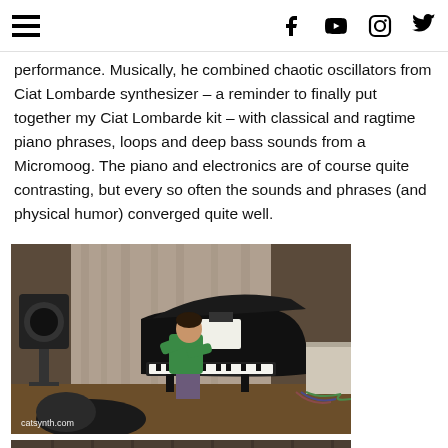Navigation and social icons: hamburger menu, Facebook, YouTube, Instagram, Twitter
performance. Musically, he combined chaotic oscillators from Ciat Lombarde synthesizer – a reminder to finally put together my Ciat Lombarde kit – with classical and ragtime piano phrases, loops and deep bass sounds from a Micromoog. The piano and electronics are of course quite contrasting, but every so often the sounds and phrases (and physical humor) converged quite well.
[Figure (photo): A person in a green t-shirt leaning over a grand piano on a stage, with a speaker on a stand to the left, and electronic equipment/cables on the right. Watermark reads catsynth.com]
[Figure (photo): Partial view of a room or stage, cropped at bottom of page.]